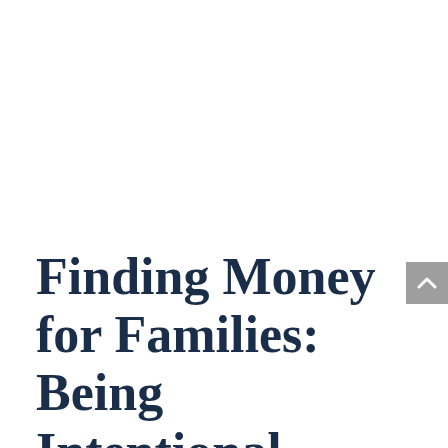Finding Money for Families: Being Intentional About Your Kids' Financial